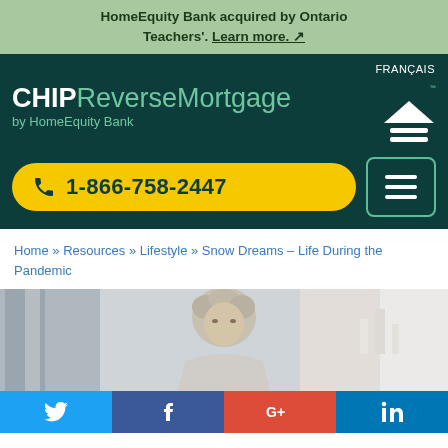HomeEquity Bank acquired by Ontario Teachers'. Learn more.
[Figure (screenshot): CHIP Reverse Mortgage by HomeEquity Bank website header with FRANÇAIS link, logo, phone number 1-866-758-2447, and hamburger menu]
Home » Resources » Lifestyle » Snow Dreams – Life During the Pandemic
[Figure (photo): Partial photo of an elderly woman with curly grey hair]
Twitter | Facebook | Google+ | LinkedIn social share buttons